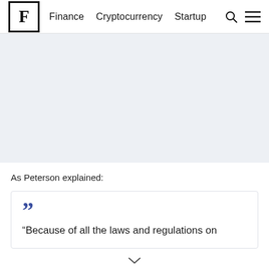F  Finance  Cryptocurrency  Startup
[Figure (other): Light gray placeholder/advertisement area]
As Peterson explained:
“Because of all the laws and regulations on